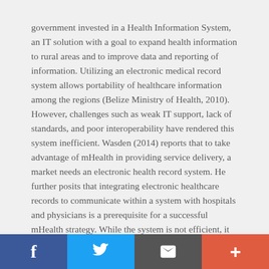government invested in a Health Information System, an IT solution with a goal to expand health information to rural areas and to improve data and reporting of information. Utilizing an electronic medical record system allows portability of healthcare information among the regions (Belize Ministry of Health, 2010). However, challenges such as weak IT support, lack of standards, and poor interoperability have rendered this system inefficient. Wasden (2014) reports that to take advantage of mHealth in providing service delivery, a market needs an electronic health record system. He further posits that integrating electronic healthcare records to communicate within a system with hospitals and physicians is a prerequisite for a successful mHealth strategy. While the system is not efficient, it is a strength that Belize has the infrastructure in place and is working towards effective use of the electronic system. Furthermore, 63% of Belizeans
Social share buttons: Facebook, Twitter, Email, Add